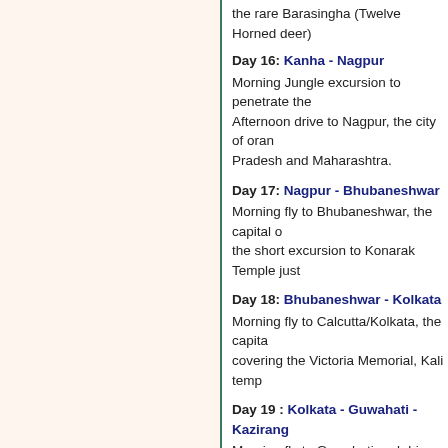the rare Barasingha (Twelve Horned deer)
Day 16: Kanha - Nagpur
Morning Jungle excursion to penetrate the Afternoon drive to Nagpur, the city of oranges on the border of Madhya Pradesh and Maharashtra.
Day 17: Nagpur - Bhubaneshwar
Morning fly to Bhubaneshwar, the capital of Orissa. the short excursion to Konarak Temple just
Day 18: Bhubaneshwar - Kolkata
Morning fly to Calcutta/Kolkata, the capital covering the Victoria Memorial, Kali temp
Day 19 : Kolkata - Guwahati - Kaziranga
Morning fly to Guwahati and drive to Kaziranga Great Indian Rhinoceros.
Day 20: Kaziranga
Morning and evening jungle rides, either J